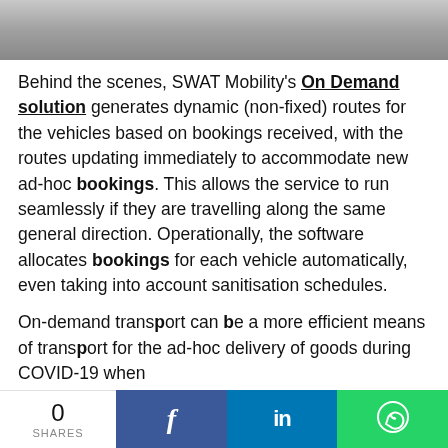[Figure (photo): Partial photo strip at top of page showing people]
Behind the scenes, SWAT Mobility's On Demand solution generates dynamic (non-fixed) routes for the vehicles based on bookings received, with the routes updating immediately to accommodate new ad-hoc bookings. This allows the service to run seamlessly if they are travelling along the same general direction. Operationally, the software allocates bookings for each vehicle automatically, even taking into account sanitisation schedules.
On-demand transport can be a more efficient means of transport for the ad-hoc delivery of goods during COVID-19 when
0 SHARES  f  in  [WhatsApp icon]